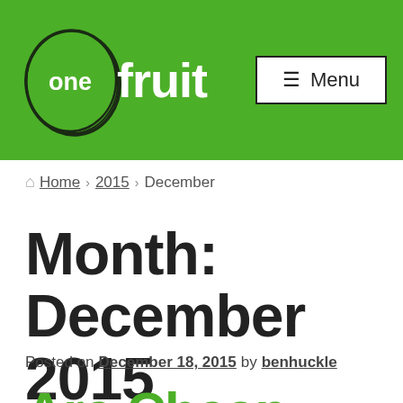[Figure (logo): One Fruit website header logo: circular hand-drawn style rings with 'one' text inside circle and 'fruit' text in bold white, on green background. Menu button top right.]
Home › 2015 › December
Month: December 2015
Posted on December 18, 2015 by benhuckle
Are Cheap